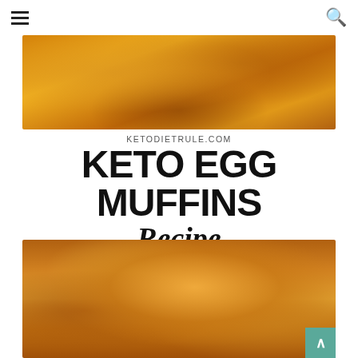≡  [hamburger menu]   [search icon]
[Figure (photo): Close-up photo of keto egg muffins showing golden cheesy baked egg cups from above]
KETODIETRULE.COM
KETO EGG MUFFINS Recipe
[Figure (photo): Close-up macro photo of keto egg muffins with melted cheese on top, warm golden-orange tones]